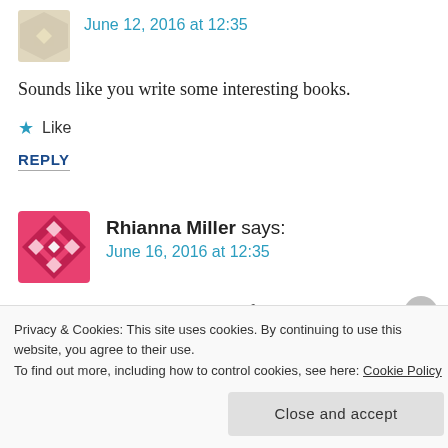June 12, 2016 at 12:35
Sounds like you write some interesting books.
★ Like
REPLY
Rhianna Miller says:
June 16, 2016 at 12:35
I'm getting ready to read your first book. A couple friends have recommended you.
Privacy & Cookies: This site uses cookies. By continuing to use this website, you agree to their use.
To find out more, including how to control cookies, see here: Cookie Policy
Close and accept